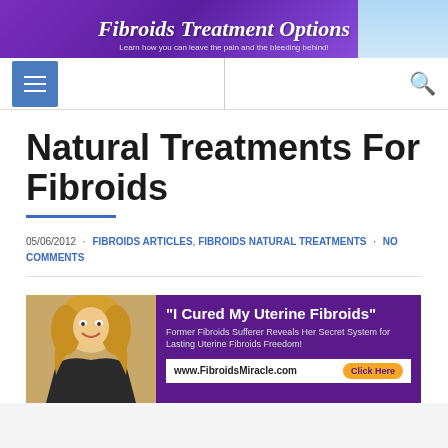Fibroids Treatment Options — Learn how you can leave the pain and the bleeding behind!
Natural Treatments For Fibroids
05/06/2012 · FIBROIDS ARTICLES, FIBROIDS NATURAL TREATMENTS · NO COMMENTS
[Figure (photo): Advertisement banner for FibroidsMiracle.com showing a smiling blonde woman and the text 'I Cured My Uterine Fibroids' — Former Fibroids Sufferer Reveals Her Secret System for Lasting Uterine Fibroids Freedom! www.FibroidsMiracle.com Click Here]